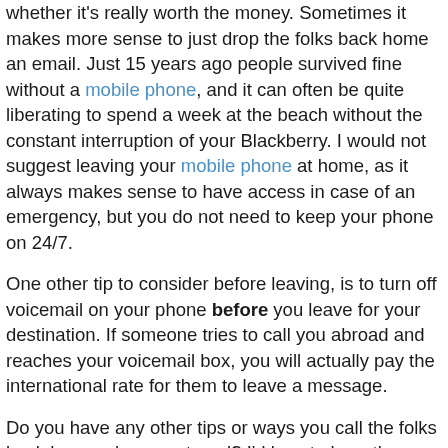whether it's really worth the money. Sometimes it makes more sense to just drop the folks back home an email. Just 15 years ago people survived fine without a mobile phone, and it can often be quite liberating to spend a week at the beach without the constant interruption of your Blackberry. I would not suggest leaving your mobile phone at home, as it always makes sense to have access in case of an emergency, but you do not need to keep your phone on 24/7.
One other tip to consider before leaving, is to turn off voicemail on your phone before you leave for your destination. If someone tries to call you abroad and reaches your voicemail box, you will actually pay the international rate for them to leave a message.
Do you have any other tips or ways you call the folks back home when you travel? I'd love to hear them, so please leave them in the comments!